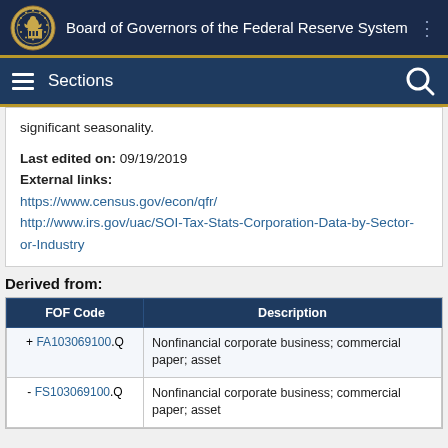Board of Governors of the Federal Reserve System
significant seasonality.
Last edited on: 09/19/2019
External links:
https://www.census.gov/econ/qfr/
http://www.irs.gov/uac/SOI-Tax-Stats-Corporation-Data-by-Sector-or-Industry
Derived from:
| FOF Code | Description |
| --- | --- |
| + FA103069100.Q | Nonfinancial corporate business; commercial paper; asset |
| - FS103069100.Q | Nonfinancial corporate business; commercial paper; asset |